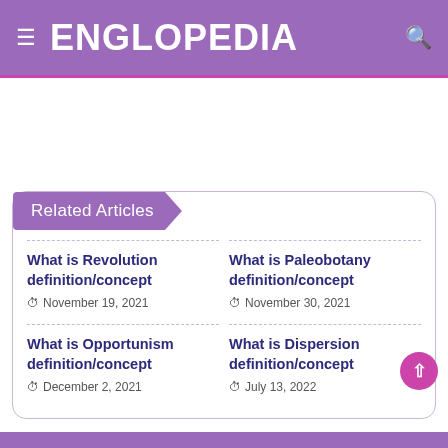ENGLOPEDIA
Related Articles
What is Revolution definition/concept
November 19, 2021
What is Paleobotany definition/concept
November 30, 2021
What is Opportunism definition/concept
December 2, 2021
What is Dispersion definition/concept
July 13, 2022